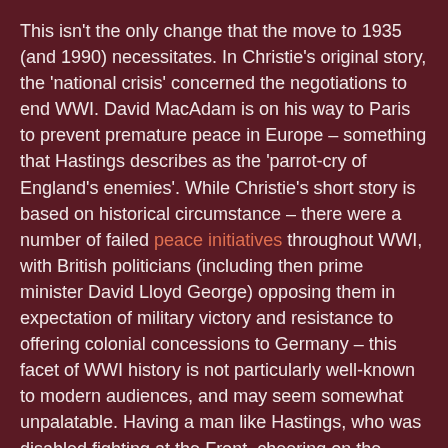This isn't the only change that the move to 1935 (and 1990) necessitates. In Christie's original story, the 'national crisis' concerned the negotiations to end WWI. David MacAdam is on his way to Paris to prevent premature peace in Europe – something that Hastings describes as the 'parrot-cry of England's enemies'. While Christie's short story is based on historical circumstance – there were a number of failed peace initiatives throughout WWI, with British politicians (including then prime minister David Lloyd George) opposing them in expectation of military victory and resistance to offering colonial concessions to Germany – this facet of WWI history is not particularly well-known to modern audiences, and may seem somewhat unpalatable. Having a man like Hastings, who was disabled fighting at the Front, cheering on the prospect of further military conflict might not have sat very well with viewers in 1990 (or today, for that matter).
Moreover, the ITV series is set, not towards the end of the 'war to end all wars', but at the brink of the deadliest conflict in human history – the motivation behind the abduction of